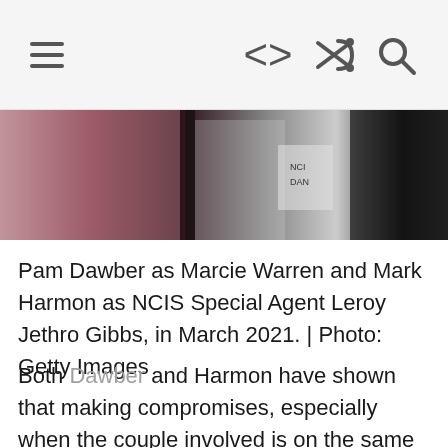≡  <>  ⇌  🔍
[Figure (photo): Partial photo of Pam Dawber and Mark Harmon on a TV set, cropped at the top]
Pam Dawber as Marcie Warren and Mark Harmon as NCIS Special Agent Leroy Jethro Gibbs, in March 2021. | Photo: Getty Images
Both Dawber and Harmon have shown that making compromises, especially when the couple involved is on the same page, is a basic recipe for a successful Hollywood marriage. Cheers to